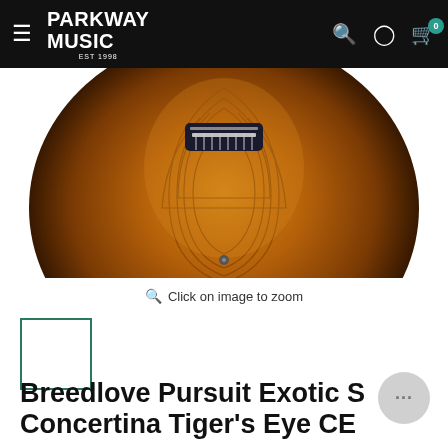PARKWAY MUSIC Est 1998
[Figure (photo): Close-up top-down view of an acoustic guitar body showing a warm amber/sunburst tiger's eye wood grain finish with a dark guitar bridge visible at the top]
Click on image to zoom
[Figure (photo): Thumbnail image placeholder with green border]
Breedlove Pursuit Exotic S Concertina Tiger's Eye CE